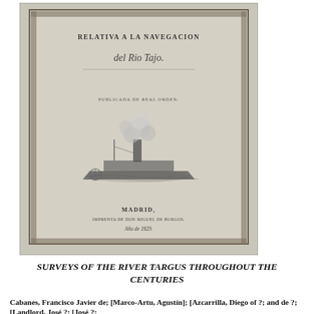[Figure (photo): Photograph of an old book cover titled 'Relativa a la Navegacion del Rio Tajo', published in Madrid, featuring a decorative border and an engraving of a steamship.]
SURVEYS OF THE RIVER TARGUS THROUGHOUT THE CENTURIES
Cabanes, Francisco Javier de; [Marco-Artu, Agustín]; [Azcarrilla, Diego of ?; and de ?; [Landlord, José ?; [José ?;